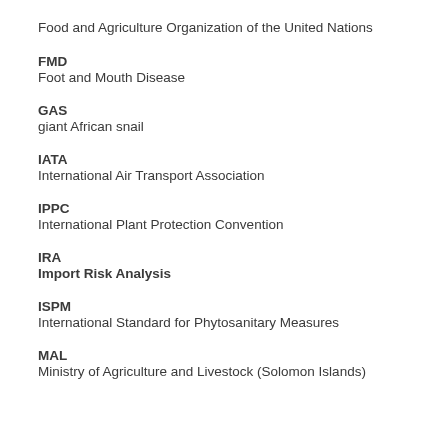Food and Agriculture Organization of the United Nations
FMD
Foot and Mouth Disease
GAS
giant African snail
IATA
International Air Transport Association
IPPC
International Plant Protection Convention
IRA
Import Risk Analysis
ISPM
International Standard for Phytosanitary Measures
MAL
Ministry of Agriculture and Livestock (Solomon Islands)